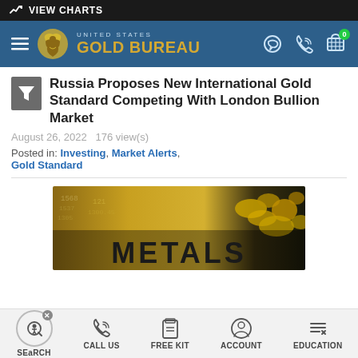VIEW CHARTS
[Figure (logo): United States Gold Bureau logo with eagle emblem and navigation icons]
Russia Proposes New International Gold Standard Competing With London Bullion Market
August 26, 2022   176 view(s)
Posted in: Investing, Market Alerts, Gold Standard
[Figure (photo): Gold metals banner image showing gold nuggets and market data in golden tones with text METALS]
SEARCH   CALL US   FREE KIT   ACCOUNT   EDUCATION